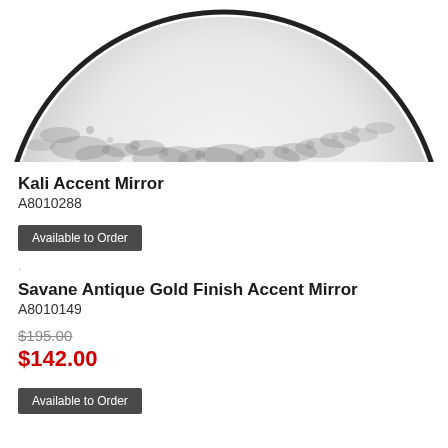[Figure (photo): Partial view of a round Kali Accent Mirror with a dark speckled/antiqued edge pattern on a white background, showing the top portion of the circular mirror cropped at the top of the page.]
Kali Accent Mirror
A8010288
Available to Order
Savane Antique Gold Finish Accent Mirror
A8010149
$195.00
$142.00
Available to Order